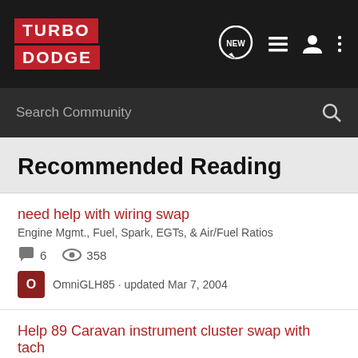TurboDodge - NEW - navigation icons
Search Community
Recommended Reading
need help with wiring swap
Engine Mgmt., Fuel, Spark, EGTs, & Air/Fuel Ratios
6 comments, 358 views
OmniGLH85 · updated Mar 7, 2004
Help 89 Caravan instrument cluster swap with tach
Turbo Dodge Help
8 comments, 3K views